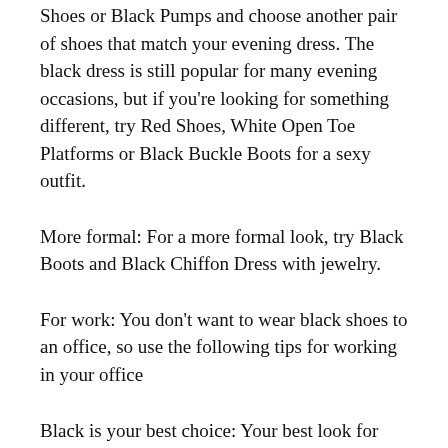Shoes or Black Pumps and choose another pair of shoes that match your evening dress. The black dress is still popular for many evening occasions, but if you're looking for something different, try Red Shoes, White Open Toe Platforms or Black Buckle Boots for a sexy outfit.
More formal: For a more formal look, try Black Boots and Black Chiffon Dress with jewelry.
For work: You don't want to wear black shoes to an office, so use the following tips for working in your office
Black is your best choice: Your best look for business attire is the classic black pantsuit or skirt suit with matching heels. A matching belt and necklace or bracelet are also essential, along with a classy pair of Black Heel Shoes or Pumps.